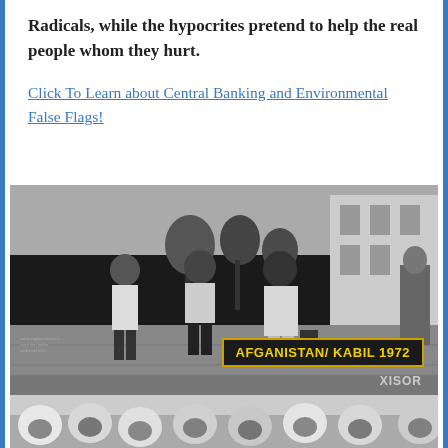Radicals, while the hypocrites pretend to help the real people whom they hurt.
Click To Learn about Central Banking and Environmental False Flags!
[Figure (photo): Black and white photograph of three women walking on a street in Kabul, Afghanistan in 1972, wearing Western-style clothing. A label in the bottom right reads 'AFGANISTAN/ KABIL 1972' with a watermark 'XISOR'. Below is a partial second photo showing women in headscarves.]